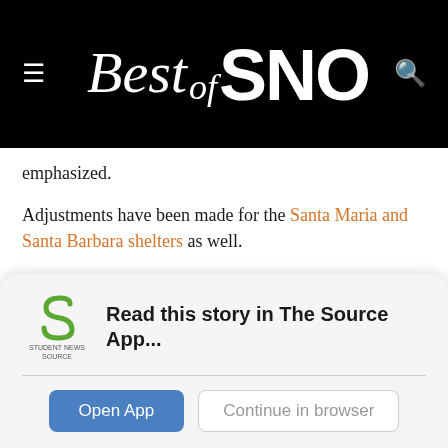Best of SNO
emphasized.
Adjustments have been made for the Santa Maria and Santa Barbara shelters as well.
“The pod schedules are a big thing we started- keeping people in two separate pods in an attempt to try to reduce how much interaction people have together… Hopefully, in the next couple of months we can go away from that
Read this story in The Source App...
Open App
Continue in browser